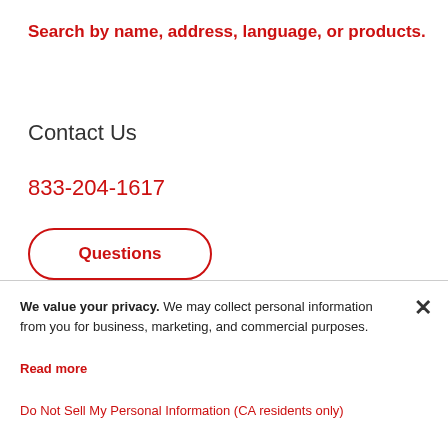Search by name, address, language, or products.
Contact Us
833-204-1617
Questions
We value your privacy. We may collect personal information from you for business, marketing, and commercial purposes. Read more
Do Not Sell My Personal Information (CA residents only)